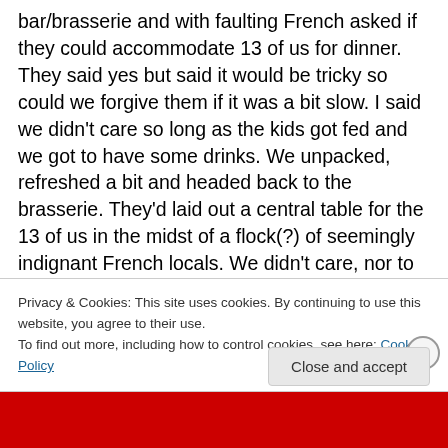bar/brasserie and with faulting French asked if they could accommodate 13 of us for dinner. They said yes but said it would be tricky so could we forgive them if it was a bit slow. I said we didn't care so long as the kids got fed and we got to have some drinks. We unpacked, refreshed a bit and headed back to the brasserie. They'd laid out a central table for the 13 of us in the midst of a flock(?) of seemingly indignant French locals. We didn't care, nor to her immense credit did the restauranteuress. She brought bottles and bottles of decent local wine, beers, water and drinks for the kids. Then mounds of still fresh tasting sliced
Privacy & Cookies: This site uses cookies. By continuing to use this website, you agree to their use.
To find out more, including how to control cookies, see here: Cookie Policy
Close and accept